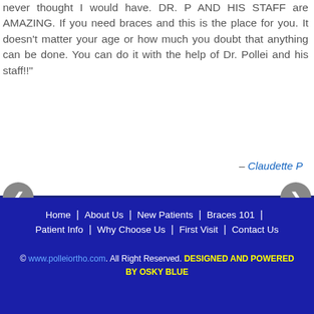never thought I would have. DR. P AND HIS STAFF are AMAZING. If you need braces and this is the place for you. It doesn't matter your age or how much you doubt that anything can be done. You can do it with the help of Dr. Pollei and his staff!!"
– Claudette P
[Figure (other): Carousel navigation buttons (left and right arrows) on a white/light background slide area]
Home | About Us | New Patients | Braces 101 | Patient Info | Why Choose Us | First Visit | Contact Us
© www.polleiortho.com. All Right Reserved. DESIGNED AND POWERED BY OSKY BLUE